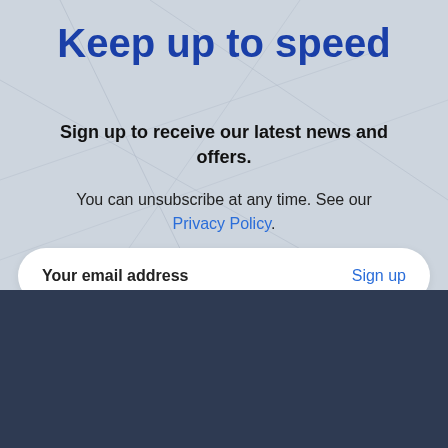Keep up to speed
Sign up to receive our latest news and offers.
You can unsubscribe at any time. See our Privacy Policy.
Your email address   Sign up
Home
Our products
[Figure (logo): reCAPTCHA badge with spinning arrow icon and Privacy - Terms text]